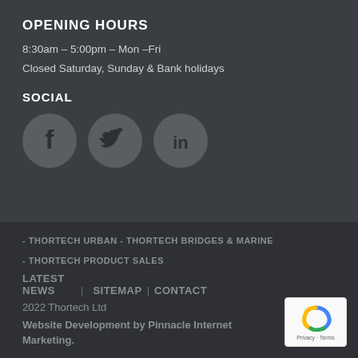OPENING HOURS
8:30am – 5:00pm – Mon –Fri
Closed Saturday, Sunday & Bank holidays
SOCIAL
[Figure (illustration): Three social media icons: Facebook (f), Twitter (bird), LinkedIn (in) as grey circles on dark background]
- THORTECH URBAN  -  THORTECH BRIDGES & MARINE
- THORTECH PRODUCT SALES
LATEST NEWS  | SITEMAP | CONTACT
2022 Thortech Ltd
Website Development by Pinnacle Internet Marketing.